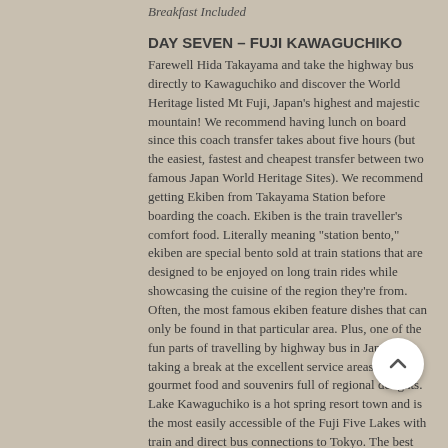Breakfast Included
DAY SEVEN – FUJI KAWAGUCHIKO
Farewell Hida Takayama and take the highway bus directly to Kawaguchiko and discover the World Heritage listed Mt Fuji, Japan's highest and majestic mountain!  We recommend having lunch on board since this coach transfer takes about five hours (but the easiest, fastest and cheapest transfer between two famous Japan World Heritage Sites).  We recommend getting Ekiben from Takayama Station before boarding the coach.  Ekiben is the train traveller's comfort food. Literally meaning "station bento," ekiben are special bento sold at train stations that are designed to be enjoyed on long train rides while showcasing the cuisine of the region they're from.  Often, the most famous ekiben feature dishes that can only be found in that particular area.  Plus, one of the fun parts of travelling by highway bus in Japan is taking a break at the excellent service areas selling gourmet food and souvenirs full of regional delights.
Lake Kawaguchiko is a hot spring resort town and is the most easily accessible of the Fuji Five Lakes with train and direct bus connections to Tokyo.  The best views of Mt. Fuji can be enjoyed from the lake's northern shores and are particularly breathtaking during the cherry...